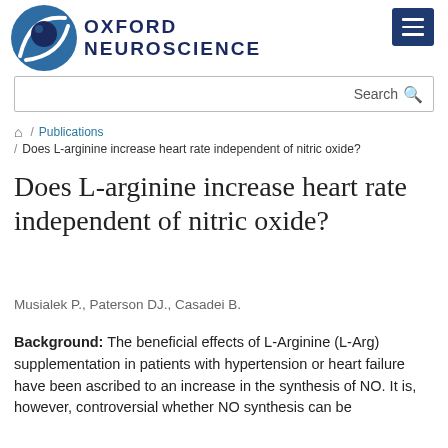[Figure (logo): Oxford Neuroscience logo with brain icon and text OXFORD NEUROSCIENCE]
Search
/ Publications / Does L-arginine increase heart rate independent of nitric oxide?
Does L-arginine increase heart rate independent of nitric oxide?
Musialek P., Paterson DJ., Casadei B.
Background: The beneficial effects of L-Arginine (L-Arg) supplementation in patients with hypertension or heart failure have been ascribed to an increase in the synthesis of NO. It is, however, controversial whether NO synthesis can be